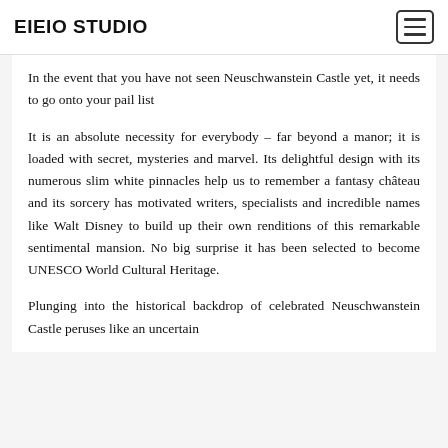EIEIO STUDIO
In the event that you have not seen Neuschwanstein Castle yet, it needs to go onto your pail list
It is an absolute necessity for everybody – far beyond a manor; it is loaded with secret, mysteries and marvel. Its delightful design with its numerous slim white pinnacles help us to remember a fantasy château and its sorcery has motivated writers, specialists and incredible names like Walt Disney to build up their own renditions of this remarkable sentimental mansion. No big surprise it has been selected to become UNESCO World Cultural Heritage.
Plunging into the historical backdrop of celebrated Neuschwanstein Castle peruses like an uncertain